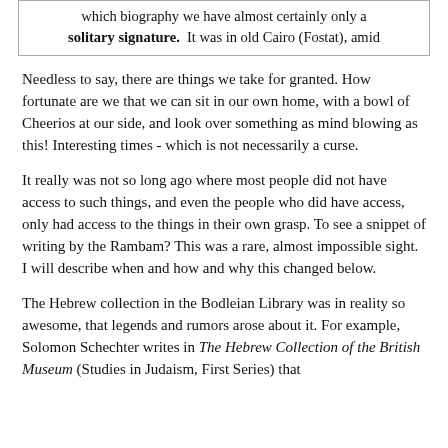which biography we have almost certainly only a solitary signature. It was in old Cairo (Fostat), amid
Needless to say, there are things we take for granted. How fortunate are we that we can sit in our own home, with a bowl of Cheerios at our side, and look over something as mind blowing as this! Interesting times - which is not necessarily a curse.
It really was not so long ago where most people did not have access to such things, and even the people who did have access, only had access to the things in their own grasp. To see a snippet of writing by the Rambam? This was a rare, almost impossible sight. I will describe when and how and why this changed below.
The Hebrew collection in the Bodleian Library was in reality so awesome, that legends and rumors arose about it. For example, Solomon Schechter writes in The Hebrew Collection of the British Museum (Studies in Judaism, First Series) that